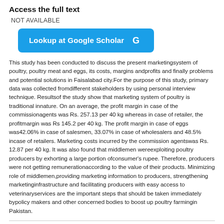Access the full text
NOT AVAILABLE
[Figure (other): Blue rounded button labeled 'Lookup at Google Scholar' with Google G logo]
This study has been conducted to discuss the present marketingsystem of poultry, poultry meat and eggs, its costs, margins andprofits and finally problems and potential solutions in Faisalabad city.For the purpose of this study, primary data was collected fromdifferent stakeholders by using personal interview technique. Resultsof the study show that marketing system of poultry is traditional innature. On an average, the profit margin in case of the commissionagents was Rs. 257.13 per 40 kg whereas in case of retailer, the profitmargin was Rs 145.2 per 40 kg. The profit margin in case of eggs was42.06% in case of salesmen, 33.07% in case of wholesalers and 48.5% incase of retailers. Marketing costs incurred by the commission agentswas Rs. 12.87 per 40 kg. It was also found that middlemen wereexploiting poultry producers by exhorting a large portion ofconsumer's rupee. Therefore, producers were not getting remunerationaccording to the value of their products. Minimizing role of middlemen,providing marketing information to producers, strengthening marketinginfrastructure and facilitating producers with easy access to veterinaryservices are the important steps that should be taken immediately bypolicy makers and other concerned bodies to boost up poultry farmingin Pakistan.
From the journal